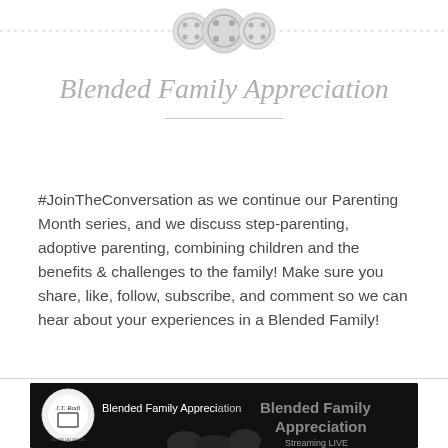[Figure (illustration): Decorative top divider with three circular button/gear icons connected by a dotted line]
Blended Family Appreciation
#JoinTheConversation as we continue our Parenting Month series, and we discuss step-parenting, adoptive parenting, combining children and the benefits & challenges to the family! Make sure you share, like, follow, subscribe, and comment so we can hear about your experiences in a Blended Family!
[Figure (screenshot): Video thumbnail showing 'Blended Family Appreciation' with a logo, text overlay 'Blended Family Appreciation' and 'Streaming LIVE', with a family photo in the background on a dark/black background]